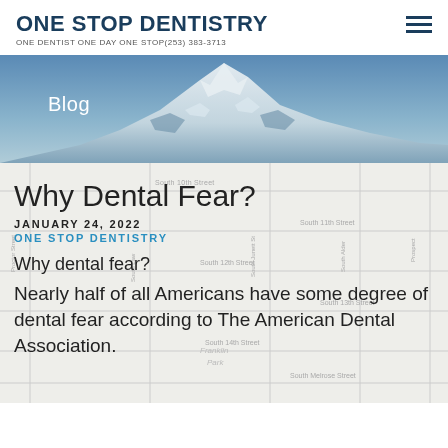ONE STOP DENTISTRY — ONE DENTIST ONE DAY ONE STOP (253) 383-3713
[Figure (photo): Blog banner hero image with snow-capped mountain (Mount Rainier) against a blue sky, with 'Blog' label in white text overlay]
[Figure (map): Street map background showing Tacoma/Washington area streets including South 10th Street, South 11th Street, South 12th Street, South 13th Street, South 14th Street, South Melrose Street, Kellogg Street, Franklin Park]
Why Dental Fear?
JANUARY 24, 2022
ONE STOP DENTISTRY
Why dental fear?
Nearly half of all Americans have some degree of dental fear according to The American Dental Association.